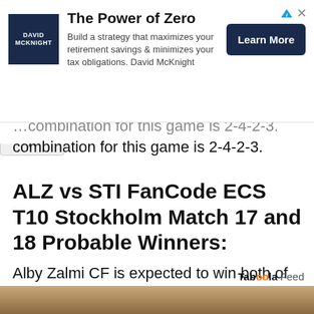[Figure (screenshot): Advertisement banner for David McKnight 'The Power of Zero' with logo, body text and Learn More button]
combination for this game is 2-4-2-3.
ALZ vs STI FanCode ECS T10 Stockholm Match 17 and 18 Probable Winners:
Alby Zalmi CF is expected to win both of these matches.
[Figure (logo): Taboola Feed logo]
[Figure (photo): Partial photo of a person with blond/red hair at the bottom of the page]